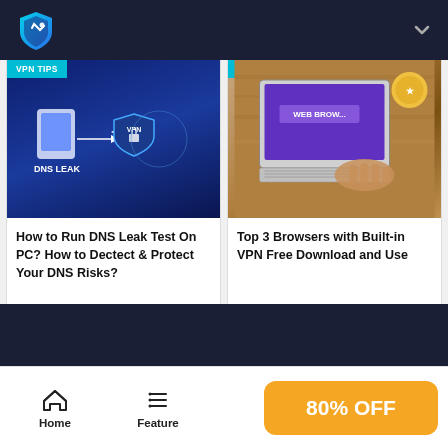[Figure (screenshot): App navigation bar with shield/rocket logo and chevron down icon on dark navy background]
[Figure (screenshot): VPN Tips tagged card showing DNS Leak illustration on dark blue background with VPN shield icon]
How to Run DNS Leak Test On PC? How to Dectect & Protect Your DNS Risks?
[Figure (screenshot): Private Browser tagged card showing laptop with web browser on wooden desk photo]
Top 3 Browsers with Built-in VPN Free Download and Use
[Figure (screenshot): Dark navy band footer section]
[Figure (screenshot): Bottom navigation bar with Home icon, Feature icon, and 80% OFF yellow button]